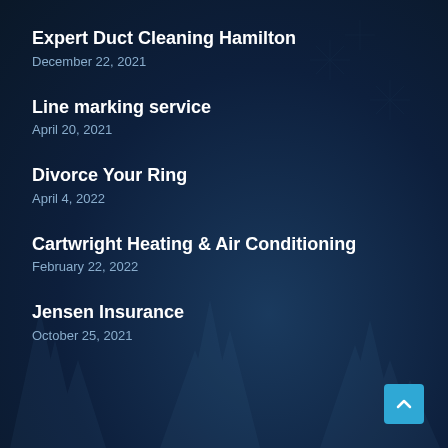Expert Duct Cleaning Hamilton
December 22, 2021
Line marking service
April 20, 2021
Divorce Your Ring
April 4, 2022
Cartwright Heating & Air Conditioning
February 22, 2022
Jensen Insurance
October 25, 2021